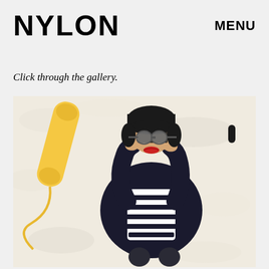NYLON   MENU
Click through the gallery.
[Figure (photo): A woman lying on a white fluffy fur rug, wearing sunglasses, red lipstick, a black and white striped top, and a dark blazer, adjusting her sunglasses with both hands. A yellow telephone handset lies beside her on the rug.]